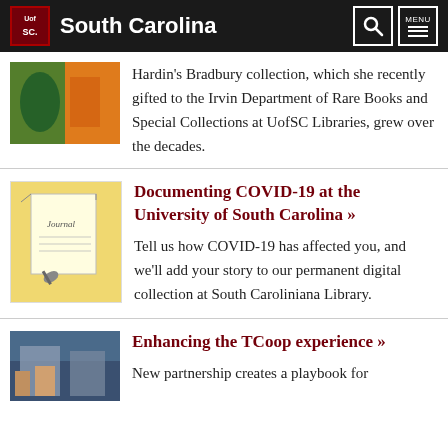South Carolina
Hardin's Bradbury collection, which she recently gifted to the Irvin Department of Rare Books and Special Collections at UofSC Libraries, grew over the decades.
Documenting COVID-19 at the University of South Carolina »
Tell us how COVID-19 has affected you, and we'll add your story to our permanent digital collection at South Caroliniana Library.
Enhancing the TCoop experience »
New partnership creates a playbook for